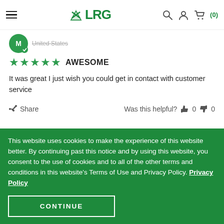LRG (navigation bar with hamburger menu, logo, search, account, cart)
United States
★★★★★ AWESOME
It was great I just wish you could get in contact with customer service
Share   Was this helpful?  👍 0  👎 0
This website uses cookies to make the experience of this website better. By continuing past this notice and by using this website, you consent to the use of cookies and to all of the other terms and conditions in this website's Terms of Use and Privacy Policy. Privacy Policy
CONTINUE